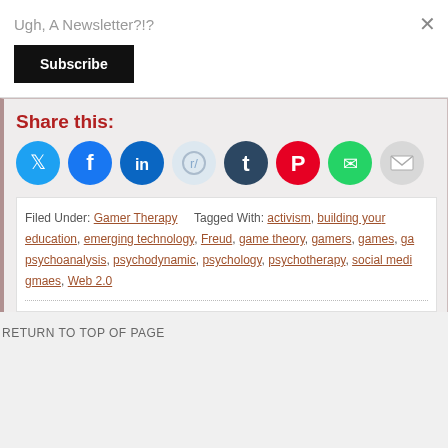Ugh, A Newsletter?!?
Subscribe
Share this:
[Figure (infographic): Row of social sharing icon circles: Twitter (blue), Facebook (blue), LinkedIn (dark blue), Reddit (light blue), Tumblr (dark navy), Pinterest (red), WhatsApp (green), Email (grey)]
Filed Under: Gamer Therapy   Tagged With: activism, building your education, emerging technology, Freud, game theory, gamers, games, ga psychoanalysis, psychodynamic, psychology, psychotherapy, social medi gmaes, Web 2.0
RETURN TO TOP OF PAGE